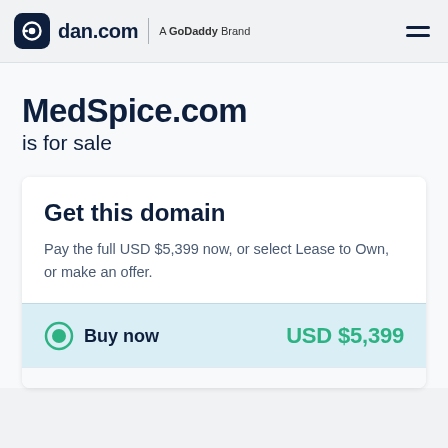dan.com — A GoDaddy Brand
MedSpice.com is for sale
Get this domain
Pay the full USD $5,399 now, or select Lease to Own, or make an offer.
Buy now  USD $5,399